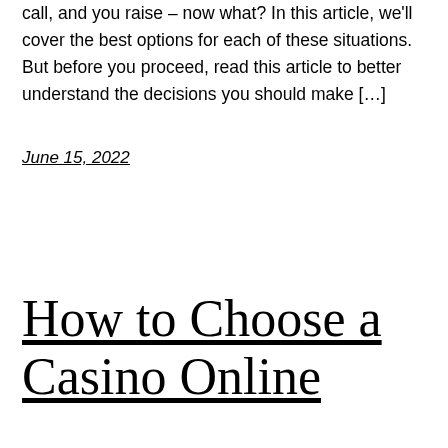call, and you raise – now what? In this article, we'll cover the best options for each of these situations. But before you proceed, read this article to better understand the decisions you should make [...]
June 15, 2022
How to Choose a Casino Online